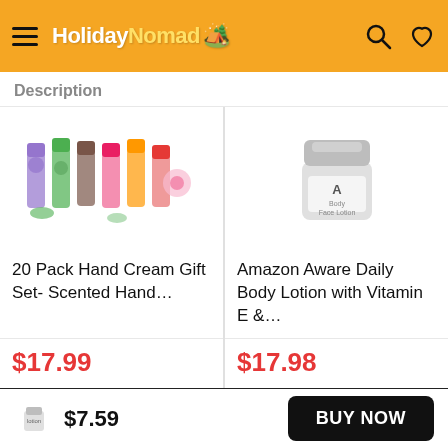[Figure (logo): HolidayNomad logo with hamburger menu, search icon, and heart icon on orange header bar]
Description
[Figure (photo): 20 Pack Hand Cream Gift Set - Scented Hand... product image showing colorful hand cream tubes]
20 Pack Hand Cream Gift Set- Scented Hand...
$17.99
[Figure (photo): Amazon Aware Daily Body Lotion with Vitamin E &... product image showing white jar]
Amazon Aware Daily Body Lotion with Vitamin E &...
$17.98
[Figure (photo): Two light blue cup shapes partially visible in bottom product cards]
$7.59  BUY NOW